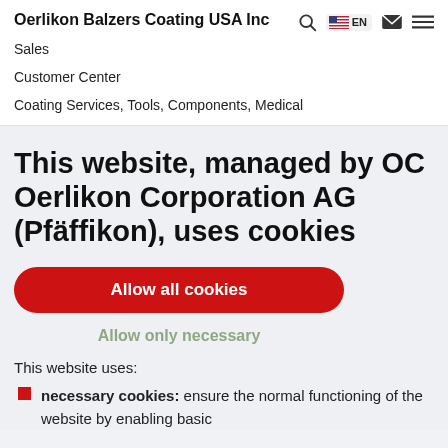Oerlikon Balzers Coating USA Inc
Sales
Customer Center
Coating Services, Tools, Components, Medical
This website, managed by OC Oerlikon Corporation AG (Pfäffikon), uses cookies
Allow all cookies
Allow only necessary
This website uses:
necessary cookies: ensure the normal functioning of the website by enabling basic